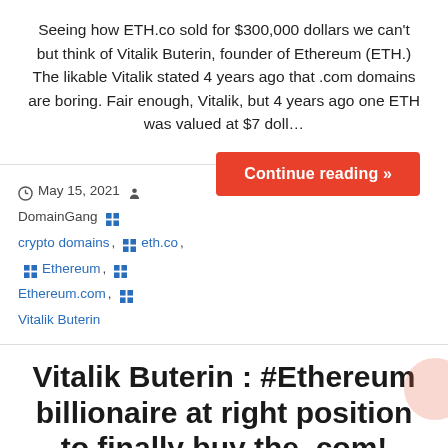Seeing how ETH.co sold for $300,000 dollars we can't but think of Vitalik Buterin, founder of Ethereum (ETH.) The likable Vitalik stated 4 years ago that .com domains are boring. Fair enough, Vitalik, but 4 years ago one ETH was valued at $7 doll…
Continue reading »
May 15, 2021  DomainGang  crypto domains,  eth.co,  Ethereum,  Ethereum.com,  Vitalik Buterin
Vitalik Buterin : #Ethereum billionaire at right position to finally buy the .com!
Crypto has been the hottest commodity of the past 18 months, and Ethereum (ETH) is no longer Bitcoin's little brother. Russian programmer Vitalik Buterin